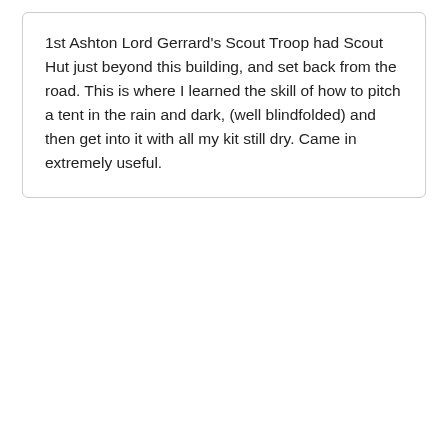1st Ashton Lord Gerrard's Scout Troop had Scout Hut just beyond this building, and set back from the road. This is where I learned the skill of how to pitch a tent in the rain and dark, (well blindfolded) and then get into it with all my kit still dry. Came in extremely useful.